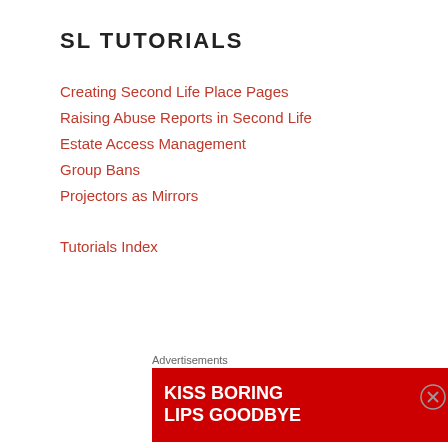SL TUTORIALS
Creating Second Life Place Pages
Raising Abuse Reports in Second Life
Estate Access Management
Group Bans
Projectors as Mirrors
Tutorials Index
SECOND LIFE GRID STATUS
Rolling Restarts for Second Life RC Channels
August 31, 2022
THIS IS A SCHEDULED EVENT Aug 31, 07:00 - 15:00 PDTAug 26
[Figure (infographic): Advertisement banner: KISS BORING LIPS GOODBYE - SHOP NOW - macys (red background with woman's face)]